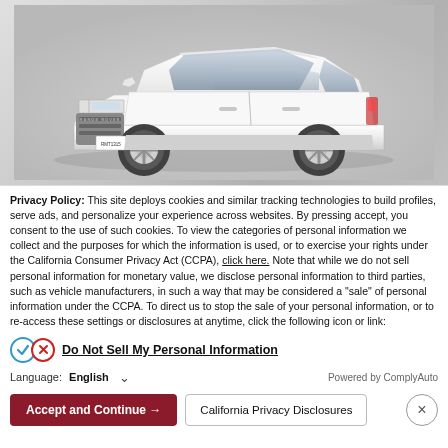[Figure (photo): White Range Rover Evoque SUV on a gray gradient background, front 3/4 view]
Privacy Policy: This site deploys cookies and similar tracking technologies to build profiles, serve ads, and personalize your experience across websites. By pressing accept, you consent to the use of such cookies. To view the categories of personal information we collect and the purposes for which the information is used, or to exercise your rights under the California Consumer Privacy Act (CCPA), click here. Note that while we do not sell personal information for monetary value, we disclose personal information to third parties, such as vehicle manufacturers, in such a way that may be considered a "sale" of personal information under the CCPA. To direct us to stop the sale of your personal information, or to re-access these settings or disclosures at anytime, click the following icon or link:
Do Not Sell My Personal Information
Language: English    Powered by ComplyAuto
Accept and Continue →   California Privacy Disclosures